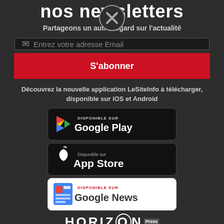nos newsletters
Partageons un autre regard sur l'actualité
[Figure (other): Close/dismiss button (circle with X)]
Entrez votre adresse Email
S'abonner
Découvrez la nouvelle application LeSiteInfo à télécharger, disponible sur iOS et Android
[Figure (logo): Google Play badge - DISPONIBLE SUR Google Play]
[Figure (logo): App Store badge - Disponible sur App Store]
[Figure (logo): Google News badge - DISPONIBLE SUR Google News]
[Figure (logo): HORIZON Press logo]